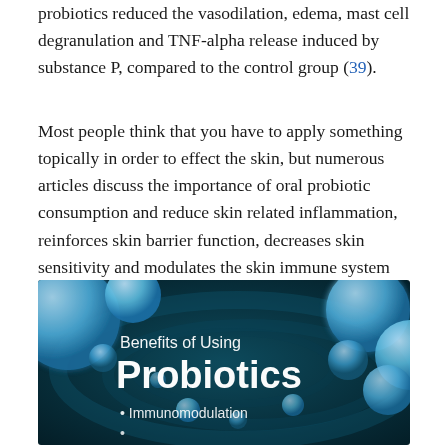probiotics reduced the vasodilation, edema, mast cell degranulation and TNF-alpha release induced by substance P, compared to the control group (39).
Most people think that you have to apply something topically in order to effect the skin, but numerous articles discuss the importance of oral probiotic consumption and reduce skin related inflammation, reinforces skin barrier function, decreases skin sensitivity and modulates the skin immune system leading to the preservation of skin homeostasis (40).
[Figure (illustration): Infographic banner showing blue spherical probiotic cells against a dark teal swirling background. White text reads 'Benefits of Using Probiotics' with bullet point 'Immunomodulation' and partial text below.]